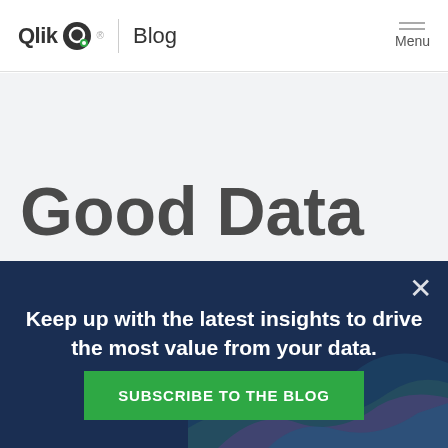Qlik Blog | Menu
Good Data
Keep up with the latest insights to drive the most value from your data.
SUBSCRIBE TO THE BLOG